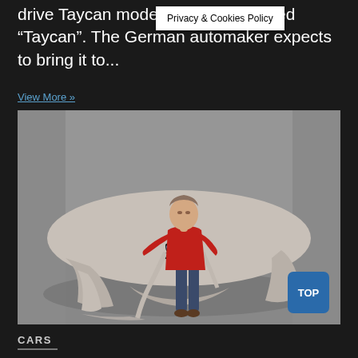drive Taycan model to... simply called “Taycan”. The German automaker expects to bring it to...
View More »
[Figure (photo): A person in a red jacket unveiling a car covered with a grey cloth in a studio setting. The car's headlights are partially visible as the cover is being pulled away.]
CARS